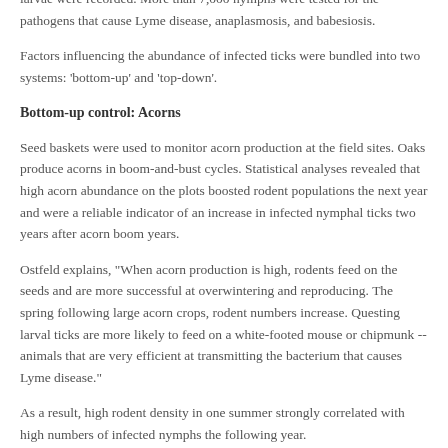larvae were recorded. More than 7,000 nymphs were tested for the pathogens that cause Lyme disease, anaplasmosis, and babesiosis.
Factors influencing the abundance of infected ticks were bundled into two systems: 'bottom-up' and 'top-down'.
Bottom-up control: Acorns
Seed baskets were used to monitor acorn production at the field sites. Oaks produce acorns in boom-and-bust cycles. Statistical analyses revealed that high acorn abundance on the plots boosted rodent populations the next year and were a reliable indicator of an increase in infected nymphal ticks two years after acorn boom years.
Ostfeld explains, "When acorn production is high, rodents feed on the seeds and are more successful at overwintering and reproducing. The spring following large acorn crops, rodent numbers increase. Questing larval ticks are more likely to feed on a white-footed mouse or chipmunk -- animals that are very efficient at transmitting the bacterium that causes Lyme disease."
As a result, high rodent density in one summer strongly correlated with high numbers of infected nymphs the following year.